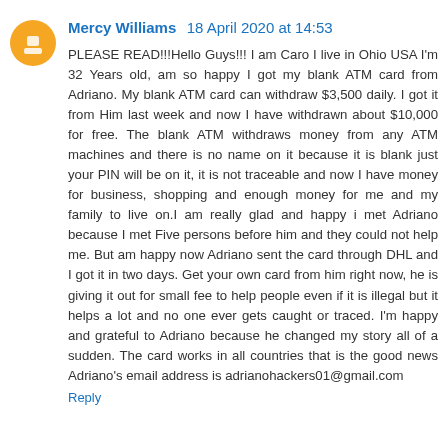Mercy Williams 18 April 2020 at 14:53
PLEASE READ!!!Hello Guys!!! I am Caro I live in Ohio USA I'm 32 Years old, am so happy I got my blank ATM card from Adriano. My blank ATM card can withdraw $3,500 daily. I got it from Him last week and now I have withdrawn about $10,000 for free. The blank ATM withdraws money from any ATM machines and there is no name on it because it is blank just your PIN will be on it, it is not traceable and now I have money for business, shopping and enough money for me and my family to live on.I am really glad and happy i met Adriano because I met Five persons before him and they could not help me. But am happy now Adriano sent the card through DHL and I got it in two days. Get your own card from him right now, he is giving it out for small fee to help people even if it is illegal but it helps a lot and no one ever gets caught or traced. I'm happy and grateful to Adriano because he changed my story all of a sudden. The card works in all countries that is the good news Adriano's email address is adrianohackers01@gmail.com